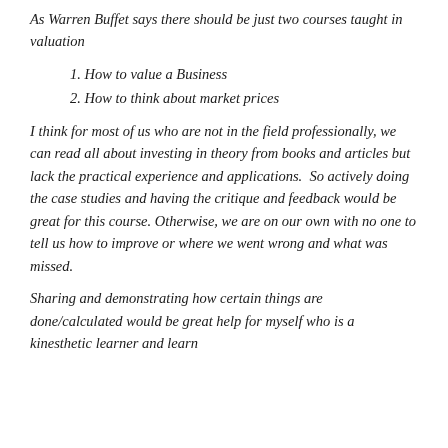As Warren Buffet says there should be just two courses taught in valuation
1. How to value a Business
2. How to think about market prices
I think for most of us who are not in the field professionally, we can read all about investing in theory from books and articles but lack the practical experience and applications.  So actively doing the case studies and having the critique and feedback would be great for this course. Otherwise, we are on our own with no one to tell us how to improve or where we went wrong and what was missed.
Sharing and demonstrating how certain things are done/calculated would be great help for myself who is a kinesthetic learner and learn